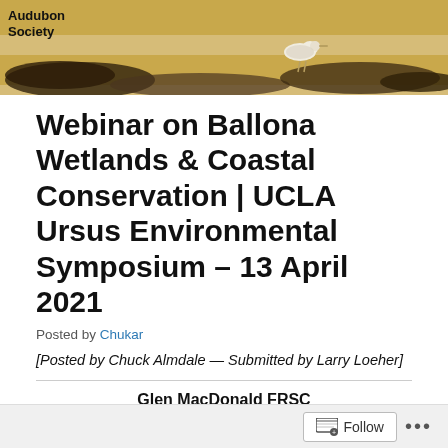[Figure (photo): Audubon Society header image showing a beach scene with seaweed, sand, and a shorebird. 'Audubon Society' text in upper left corner.]
Webinar on Ballona Wetlands & Coastal Conservation | UCLA Ursus Environmental Symposium – 13 April 2021
Posted by Chukar
[Posted by Chuck Almdale — Submitted by Larry Loeher]
Glen MacDonald FRSC
UCLA Endowed Chair in Geography of California and the American West
Follow